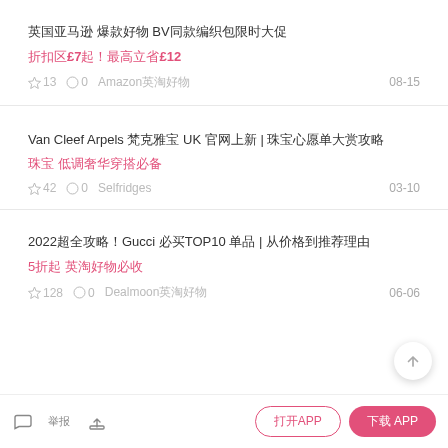英国亚马逊 爆款好物 BV同款编织包限时大促
折扣区£7起！最高立省£12
☆ 13  ○ 0  Amazon英淘好物  08-15
Van Cleef Arpels 梵克雅宝 UK 官网上新 | 珠宝心愿单大赏攻略
珠宝 低调奢华穿搭必备
☆ 42  ○ 0  Selfridges  03-10
2022超全攻略！Gucci 必买TOP10 单品 | 从价格到推荐理由
5折起 英淘好物必收
☆ 128  ○ 0  Dealmoon英淘好物  06-06
评论 举报  分享  打开APP  下载 APP